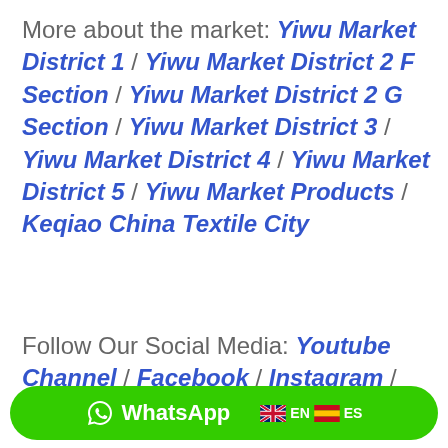More about the market: Yiwu Market District 1 / Yiwu Market District 2 F Section / Yiwu Market District 2 G Section / Yiwu Market District 3 / Yiwu Market District 4 / Yiwu Market District 5 / Yiwu Market Products / Keqiao China Textile City
Follow Our Social Media: Youtube Channel / Facebook / Instagram / Twitter
[Figure (other): Green rounded WhatsApp button bar with WhatsApp icon and text, UK flag with EN label, Spain flag with ES label]